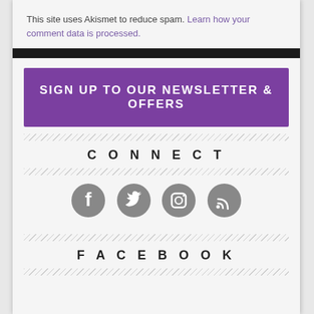This site uses Akismet to reduce spam. Learn how your comment data is processed.
SIGN UP TO OUR NEWSLETTER & OFFERS
CONNECT
[Figure (illustration): Four social media icons in grey circles: Facebook, Twitter, Instagram, RSS feed]
FACEBOOK